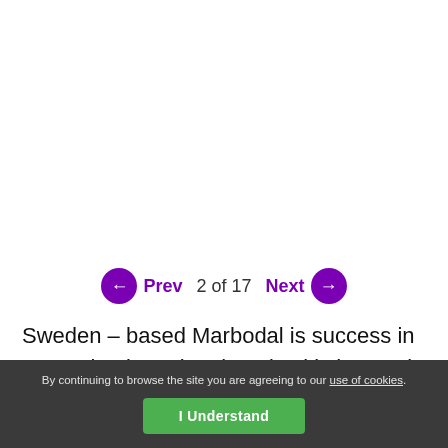[Figure (photo): White/blank image area at top of page (image not visible)]
Prev  2 of 17  Next
Sweden – based Marbodal is success in recreating intentional to nice kitchen style that is made with excessive capability and enamoring style. There are some Marbodal ideas for kitchen
By continuing to browse the site you are agreeing to our use of cookies. I Understand